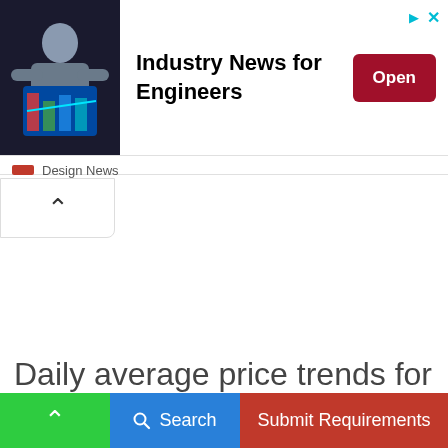[Figure (screenshot): Advertisement banner showing a person using a tablet with engineering/CAD software. Text reads 'Industry News for Engineers' with an 'Open' button and 'Design News' source label.]
Daily average price trends for Ashar (Top/Red, Green/Whole) in future
Search  Submit Requirements